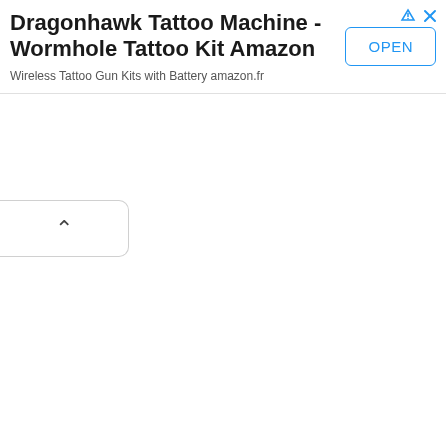[Figure (screenshot): Advertisement banner for Dragonhawk Tattoo Machine - Wormhole Tattoo Kit on Amazon. Shows ad title, subtitle 'Wireless Tattoo Gun Kits with Battery amazon.fr', an OPEN button, and ad control icons in the top-right corner. Below the banner is a collapse/chevron tab on the left side.]